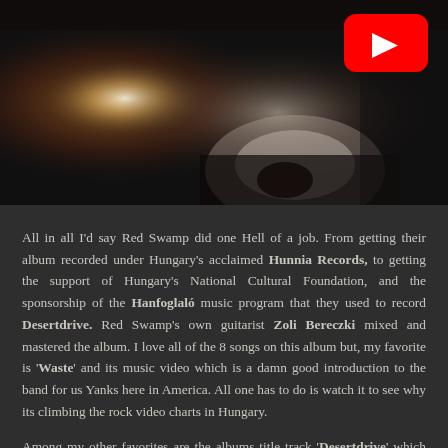[Figure (photo): Dark music video thumbnail showing a close-up of a man singing with mouth open, dramatic lighting with warm tones. A red YouTube play button overlay appears in the upper right area of the image.]
All in all I'd say Red Swamp did one Hell of a job. From getting their album recorded under Hungary's acclaimed Hunnia Records, to getting the support of Hungary's National Cultural Foundation, and the sponsorship of the Hanfoglaló music program that they used to record Desertdrive. Red Swamp's own guitarist Zoli Bereczki mixed and mastered the album. I love all of the 8 songs on this album but, my favorite is 'Waste' and its music video which is a damn good introduction to the band for us Yanks here in America. All one has to do is watch it to see why its climbing the rock video charts in Hungary.
Among my other favorites are the albums title track 'Desertdrive' which feels sort of like a tip of the hat to VOLBEAT with Márton Veress's bouncy